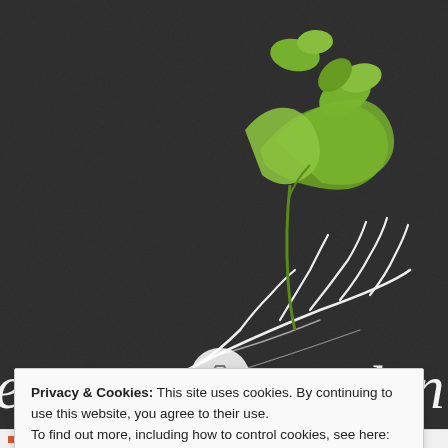[Figure (logo): Terroirs & Talents logo on dark slate background: white hand-drawn illustration of an open hand holding a plant/vine with green leaves, with the text 'Terroirs & Talents' in chalk-style white and green lettering below. A camera icon overlay and close button are visible.]
Privacy & Cookies: This site uses cookies. By continuing to use this website, you agree to their use.
To find out more, including how to control cookies, see here: Cookie Policy
Close and accept